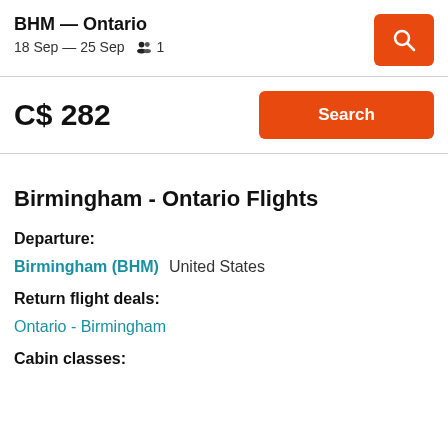BHM — Ontario
18 Sep — 25 Sep   👥 1
C$ 282
Search
Birmingham - Ontario Flights
Departure:
Birmingham (BHM)   United States
Return flight deals:
Ontario - Birmingham
Cabin classes: